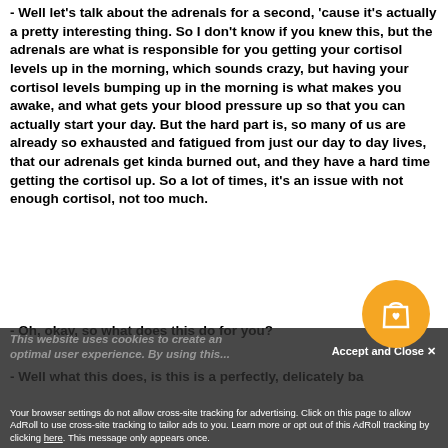- Well let's talk about the adrenals for a second, 'cause it's actually a pretty interesting thing. So I don't know if you knew this, but the adrenals are what is responsible for you getting your cortisol levels up in the morning, which sounds crazy, but having your cortisol levels bumping up in the morning is what makes you awake, and what gets your blood pressure up so that you can actually start your day. But the hard part is, so many of us are already so exhausted and fatigued from just our day to day lives, that our adrenals get kinda burned out, and they have a hard time getting the cortisol up. So a lot of times, it's an issue with not enough cortisol, not too much.
- Oh, okay, so what does this do for you?
- Well what this does, is this is a perfectly, delicately ba...
This website uses cookies to create an optimal user experience. By using this...
Accept and Close ✕
Your browser settings do not allow cross-site tracking for advertising. Click on this page to allow AdRoll to use cross-site tracking to tailor ads to you. Learn more or opt out of this AdRoll tracking by clicking here. This message only appears once.